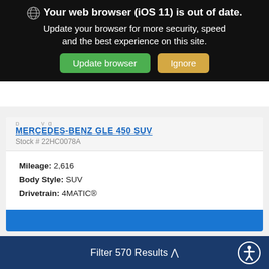Your web browser (iOS 11) is out of date. Update your browser for more security, speed and the best experience on this site.
Update browser | Ignore
MERCEDES-BENZ GLE 450 SUV
Stock # 22HC0078A
Mileage: 2,616
Body Style: SUV
Drivetrain: 4MATIC®
DIEHL PRICE
$72,987
Filter 570 Results ^